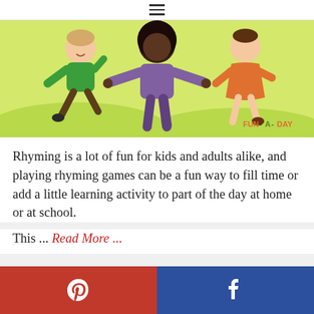≡
[Figure (illustration): Cartoon illustration of three children playing outdoors on a green/yellow background. A child in green on the left, a child with dark hair in purple in the center, and a child in orange on the right. FUN-A-DAY logo in bottom right corner.]
Rhyming is a lot of fun for kids and adults alike, and playing rhyming games can be a fun way to fill time or add a little learning activity to part of the day at home or at school.
This ... Read More ...
Pinterest | Facebook